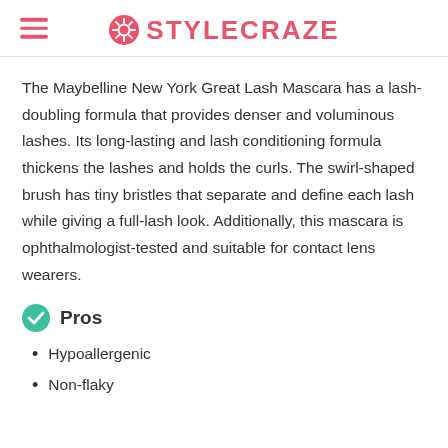STYLECRAZE
The Maybelline New York Great Lash Mascara has a lash-doubling formula that provides denser and voluminous lashes. Its long-lasting and lash conditioning formula thickens the lashes and holds the curls. The swirl-shaped brush has tiny bristles that separate and define each lash while giving a full-lash look. Additionally, this mascara is ophthalmologist-tested and suitable for contact lens wearers.
Pros
Hypoallergenic
Non-flaky